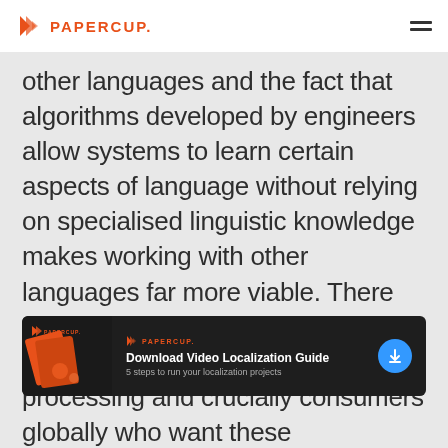PAPERCUP.
other languages and the fact that algorithms developed by engineers allow systems to learn certain aspects of language without relying on specialised linguistic knowledge makes working with other languages far more viable. There are also now widespread applications for natural language processing and crucially consumers globally who want these applications in their native languages.
[Figure (infographic): Dark banner with Papercup logo, book/card image, text 'Download Video Localization Guide / 5 steps to run your localization projects', and a blue circular download button.]